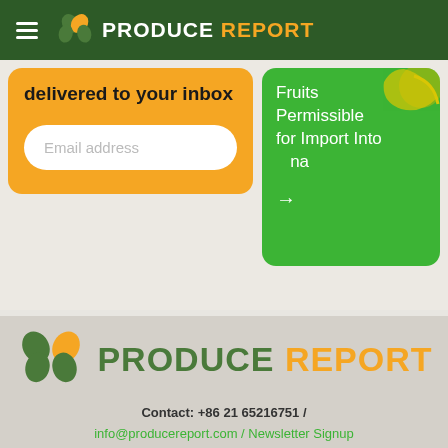PRODUCE REPORT
delivered to your inbox
Email address
Fruits Permissible for Import Into China →
[Figure (logo): Produce Report logo with leaf icon, large size in footer]
Contact: +86 21 65216751 /
info@producereport.com / Newsletter Signup